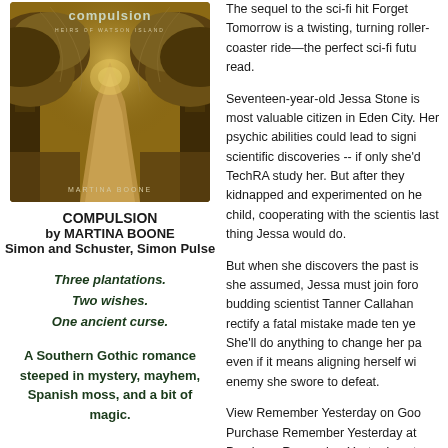[Figure (illustration): Book cover of 'Compulsion' by Martina Boone, Heirs of Watson Island series. Shows a dirt path lined with trees forming a canopy, warm golden/amber tones.]
COMPULSION
by MARTINA BOONE
Simon and Schuster, Simon Pulse
Three plantations.
Two wishes.
One ancient curse.
A Southern Gothic romance steeped in mystery, mayhem, Spanish moss, and a bit of magic.
The sequel to the sci-fi hit Forget Tomorrow is a twisting, turning roller-coaster ride—the perfect sci-fi future read.
Seventeen-year-old Jessa Stone is most valuable citizen in Eden City. Her psychic abilities could lead to significant scientific discoveries -- if only she'd let TechRA study her. But after they kidnapped and experimented on her as a child, cooperating with the scientists is the last thing Jessa would do.
But when she discovers the past is not as she assumed, Jessa must join forces with budding scientist Tanner Callahan to rectify a fatal mistake made ten years ago. She'll do anything to change her past, even if it means aligning herself with the enemy she swore to defeat.
View Remember Yesterday on Goo
Purchase Remember Yesterday at
Purchase Remember Yesterday at